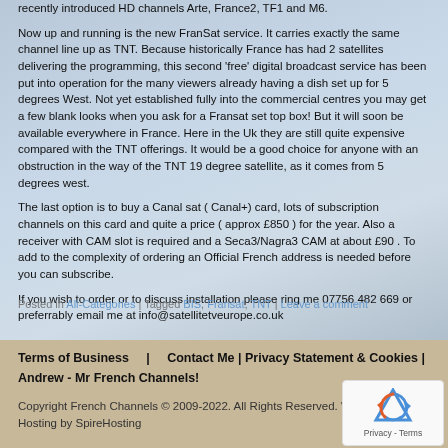recently introduced HD channels Arte, France2, TF1 and M6.
Now up and running is the new FranSat service. It carries exactly the same channel line up as TNT. Because historically France has had 2 satellites delivering the programming, this second 'free' digital broadcast service has been put into operation for the many viewers already having a dish set up for 5 degrees West. Not yet established fully into the commercial centres you may get a few blank looks when you ask for a Fransat set top box! But it will soon be available everywhere in France. Here in the Uk they are still quite expensive compared with the TNT offerings. It would be a good choice for anyone with an obstruction in the way of the TNT 19 degree satellite, as it comes from 5 degrees west.
The last option is to buy a Canal sat ( Canal+) card, lots of subscription channels on this card and quite a price ( approx £850 ) for the year. Also a receiver with CAM slot is required and a Seca3/Nagra3 CAM at about £90 . To add to the complexity of ordering an Official French address is needed before you can subscribe.
If you wish to order or to discuss installation please ring me 07756 482 669 or preferrably email me at info@satellitetveurope.co.uk
Posted in All-Categories | Tagged BIS, Fransat, TNT | Leave a comment
Terms of Business | Contact Me | Privacy Statement & Cookies | Andrew - Mr French Channels!
Copyright French Channels © 2009-2022. All Rights Reserved. Web Hosting by SpireHosting